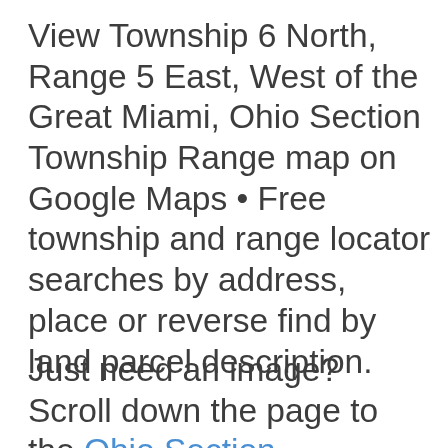View Township 6 North, Range 5 East, West of the Great Miami, Ohio Section Township Range map on Google Maps • Free township and range locator searches by address, place or reverse find by land parcel description.
Just need an image? Scroll down the page to the Ohio Section Township Range Map Image